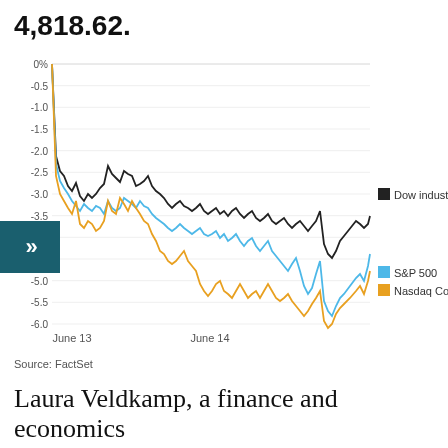4,818.62.
[Figure (line-chart): Line chart showing intraday percentage changes for Dow industrials, S&P 500, and Nasdaq Composite over June 13-14. All three decline from 0% with Nasdaq falling lowest near -5.3%, S&P 500 near -5.0%, and Dow industrials near -4.0% at trough.]
Source: FactSet
Laura Veldkamp, a finance and economics